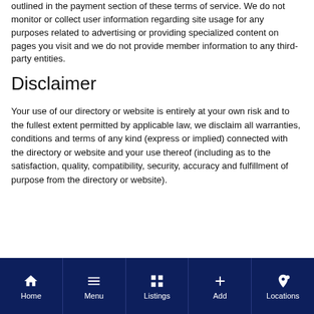outlined in the payment section of these terms of service. We do not monitor or collect user information regarding site usage for any purposes related to advertising or providing specialized content on pages you visit and we do not provide member information to any third-party entities.
Disclaimer
Your use of our directory or website is entirely at your own risk and to the fullest extent permitted by applicable law, we disclaim all warranties, conditions and terms of any kind (express or implied) connected with the directory or website and your use thereof (including as to the satisfaction, quality, compatibility, security, accuracy and fulfillment of purpose from the directory or website).
Home | Menu | Listings | Add | Locations